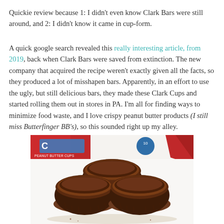Quickie review because 1: I didn't even know Clark Bars were still around, and 2: I didn't know it came in cup-form.
A quick google search revealed this really interesting article, from 2019, back when Clark Bars were saved from extinction. The new company that acquired the recipe weren't exactly given all the facts, so they produced a lot of misshapen bars. Apparently, in an effort to use the ugly, but still delicious bars, they made these Clark Cups and started rolling them out in stores in PA. I'm all for finding ways to minimize food waste, and I love crispy peanut butter products (I still miss Butterfinger BB's), so this sounded right up my alley.
[Figure (photo): Photo of three Clark Peanut Butter Cups (chocolate cups in paper liners) arranged on a white surface, with red Clark candy packaging visible in the background.]